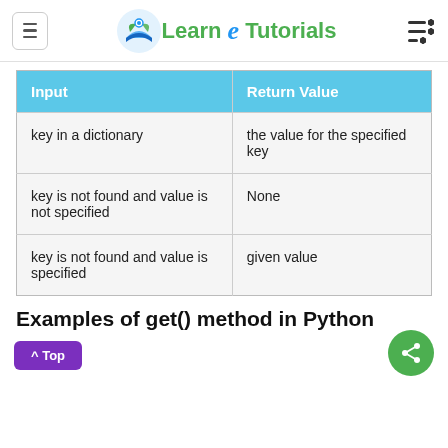Learn e Tutorials
| Input | Return Value |
| --- | --- |
| key in a dictionary | the value for the specified key |
| key is not found and value is not specified | None |
| key is not found and value is specified | given value |
Examples of get() method in Python